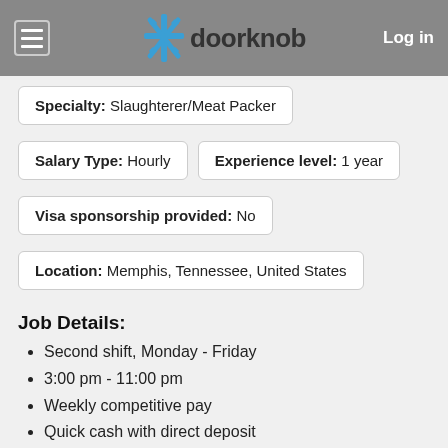doorknob | Log in
Specialty: Slaughterer/Meat Packer
Salary Type: Hourly   Experience level: 1 year
Visa sponsorship provided: No
Location: Memphis, Tennessee, United States
Job Details:
Second shift, Monday - Friday
3:00 pm - 11:00 pm
Weekly competitive pay
Quick cash with direct deposit
Unlimited $400 referral bonuses
Employee incentives and benefits